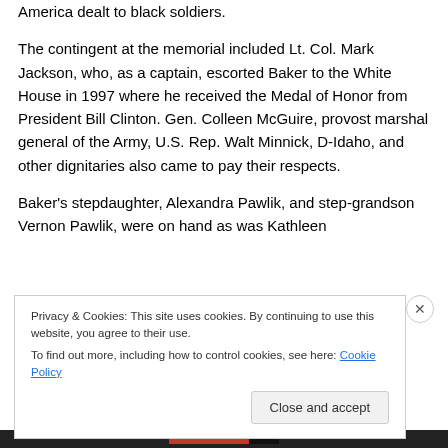America dealt to black soldiers.
The contingent at the memorial included Lt. Col. Mark Jackson, who, as a captain, escorted Baker to the White House in 1997 where he received the Medal of Honor from President Bill Clinton. Gen. Colleen McGuire, provost marshal general of the Army, U.S. Rep. Walt Minnick, D-Idaho, and other dignitaries also came to pay their respects.
Baker's stepdaughter, Alexandra Pawlik, and step-grandson Vernon Pawlik, were on hand as was Kathleen
Privacy & Cookies: This site uses cookies. By continuing to use this website, you agree to their use.
To find out more, including how to control cookies, see here: Cookie Policy